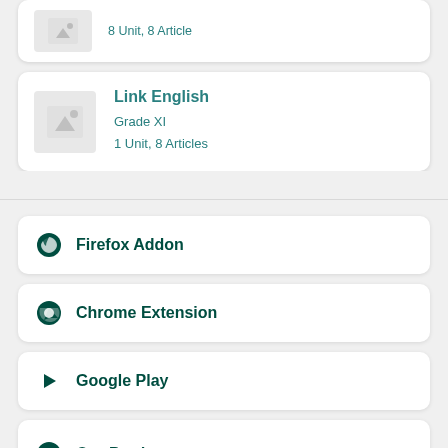[Figure (other): Truncated course card with image placeholder at top]
Link English
Grade XI
1 Unit, 8 Articles
Firefox Addon
Chrome Extension
Google Play
Our Products